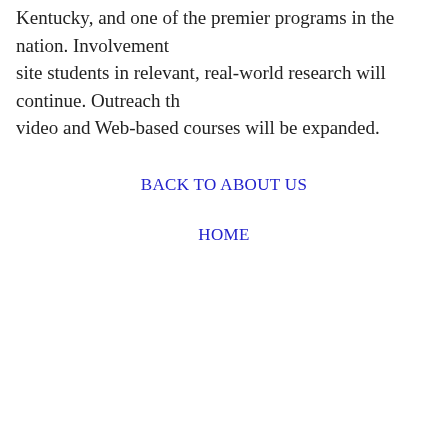Kentucky, and one of the premier programs in the nation. Involvement of off-site students in relevant, real-world research will continue. Outreach through video and Web-based courses will be expanded.
BACK TO ABOUT US
HOME